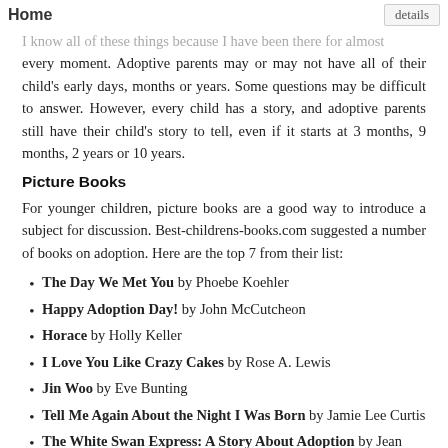Home
I know all of these things because I have been there for almost every moment. Adoptive parents may or may not have all of their child's early days, months or years. Some questions may be difficult to answer. However, every child has a story, and adoptive parents still have their child's story to tell, even if it starts at 3 months, 9 months, 2 years or 10 years.
Picture Books
For younger children, picture books are a good way to introduce a subject for discussion. Best-childrens-books.com suggested a number of books on adoption. Here are the top 7 from their list:
The Day We Met You by Phoebe Koehler
Happy Adoption Day! by John McCutcheon
Horace by Holly Keller
I Love You Like Crazy Cakes by Rose A. Lewis
Jin Woo by Eve Bunting
Tell Me Again About the Night I Was Born by Jamie Lee Curtis
The White Swan Express: A Story About Adoption by Jean Davies Okimoto